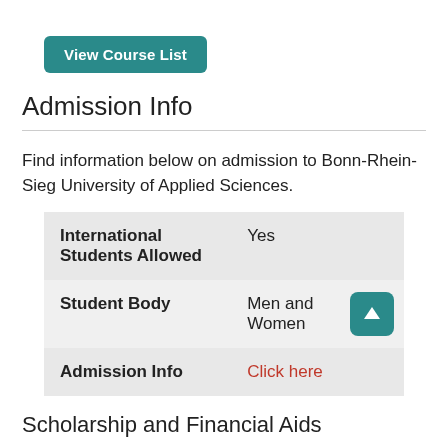[Figure (other): Teal rounded button labeled 'View Course List']
Admission Info
Find information below on admission to Bonn-Rhein-Sieg University of Applied Sciences.
|  |  |
| --- | --- |
| International Students Allowed | Yes |
| Student Body | Men and Women |
| Admission Info | Click here |
Scholarship and Financial Aids